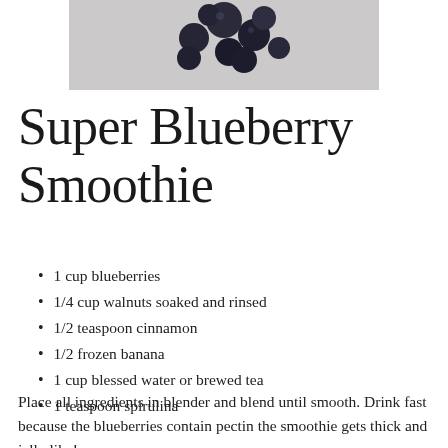[Figure (photo): Close-up photo of blueberries on a light gray background]
Super Blueberry Smoothie
1 cup blueberries
1/4 cup walnuts soaked and rinsed
1/2 teaspoon cinnamon
1/2 frozen banana
1 cup blessed water or brewed tea
1 teaspoon spirulina
Place all ingredients in blender and blend until smooth. Drink fast because the blueberries contain pectin the smoothie gets thick and jelly like!